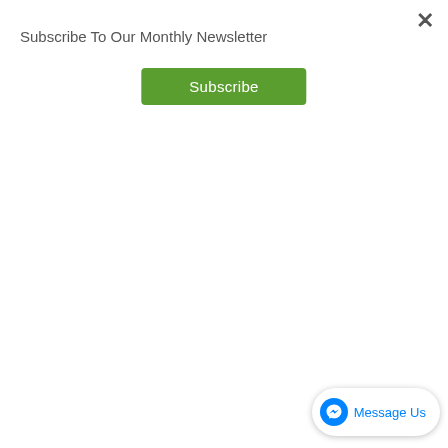Subscribe To Our Monthly Newsletter
Subscribe
[Figure (infographic): WHY MICRONEEDLING? infographic with a blue microneedling pen on the left, Omni Core Recovery Complex product on the right, and a numbered list of 10 benefits in the center.]
BOOK YOUR APPOINTMENT
925-933-319...
Message Us